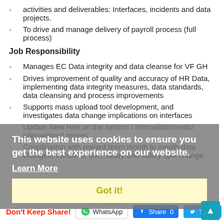activities and deliverables: Interfaces, incidents and data projects.
To drive and manage delivery of payroll process (full process)
Job Responsibility
Manages EC Data integrity and data cleanse for VF GH
Drives improvement of quality and accuracy of HR Data, implementing data integrity measures, data standards, data cleansing and process improvements
Supports mass upload tool development, and investigates data change implications on interfaces
Update New Hire on the system / internal/domestic/ international moves
Coordinating with reward team month to month data changes, transfers, title, salary and salary split change
[Figure (screenshot): Cookie consent overlay with text 'This website uses cookies to ensure you get the best experience on our website.' with Learn More link and Got it! button]
Don't Keep Share!
WhatsApp   Share 0   Tweet